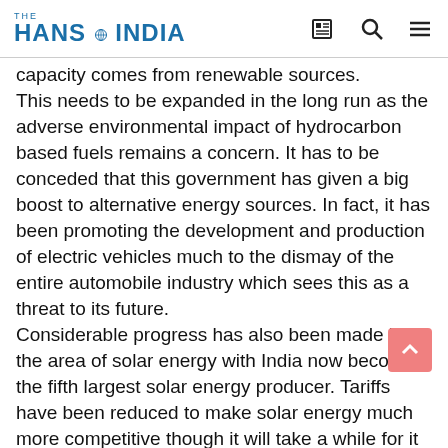THE HANS INDIA
capacity comes from renewable sources. This needs to be expanded in the long run as the adverse environmental impact of hydrocarbon based fuels remains a concern. It has to be conceded that this government has given a big boost to alternative energy sources. In fact, it has been promoting the development and production of electric vehicles much to the dismay of the entire automobile industry which sees this as a threat to its future. Considerable progress has also been made in the area of solar energy with India now becoming the fifth largest solar energy producer. Tariffs have been reduced to make solar energy much more competitive though it will take a while for it to displace traditional fuel sources. It so far accounts for only about 4 per cent of total power generation in the country and thus